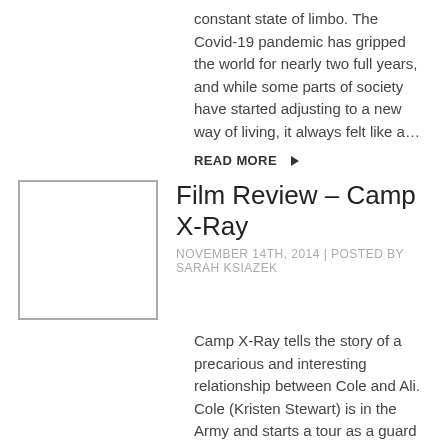constant state of limbo. The Covid-19 pandemic has gripped the world for nearly two full years, and while some parts of society have started adjusting to a new way of living, it always felt like a…
READ MORE ▶
[Figure (photo): Thumbnail image placeholder for Film Review – Camp X-Ray article]
Film Review – Camp X-Ray
NOVEMBER 14TH, 2014 | POSTED BY SARAH KSIAZEK
Camp X-Ray tells the story of a precarious and interesting relationship between Cole and Ali. Cole (Kristen Stewart) is in the Army and starts a tour as a guard at Guantanamo Bay, where the government holds accused terrorists. Ali (Peyman Moaadi, A Separation) is a…
READ MORE ▶
[Figure (photo): Partial thumbnail image placeholder for next article]